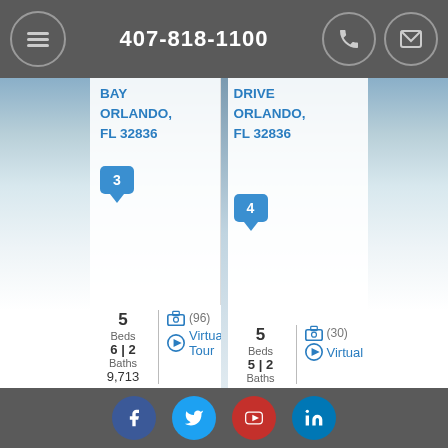407-818-1100
ORLANDO, FL 32836
3
5
Beds
6 | 2
Baths
9,713
(96)
Virtual Tour
DRIVE ORLANDO, FL 32836
4
5
Beds
5 | 2
Baths
(30)
Virtual
Facebook Twitter YouTube LinkedIn